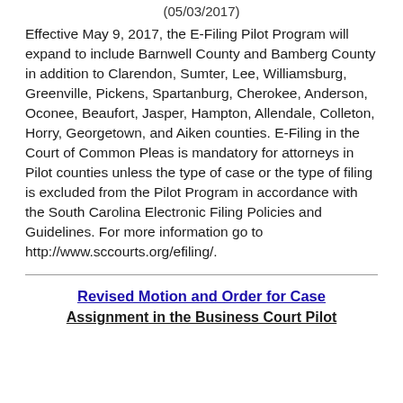(05/03/2017)
Effective May 9, 2017, the E-Filing Pilot Program will expand to include Barnwell County and Bamberg County in addition to Clarendon, Sumter, Lee, Williamsburg, Greenville, Pickens, Spartanburg, Cherokee, Anderson, Oconee, Beaufort, Jasper, Hampton, Allendale, Colleton, Horry, Georgetown, and Aiken counties. E-Filing in the Court of Common Pleas is mandatory for attorneys in Pilot counties unless the type of case or the type of filing is excluded from the Pilot Program in accordance with the South Carolina Electronic Filing Policies and Guidelines. For more information go to http://www.sccourts.org/efiling/.
Revised Motion and Order for Case Assignment in the Business Court Pilot